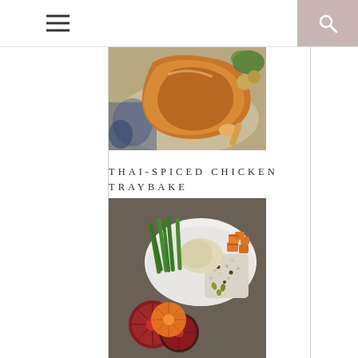Navigation bar with hamburger menu and search icon
[Figure (photo): Thai-spiced roasted chicken leg/thigh pieces on a blue and white decorative plate, golden-brown skin]
THAI-SPICED CHICKEN TRAYBAKE
[Figure (photo): A bowl with green beans, blood oranges, roasted sweet potato cubes, and cauliflower couscous with raisins and pumpkin seeds on a dark background]